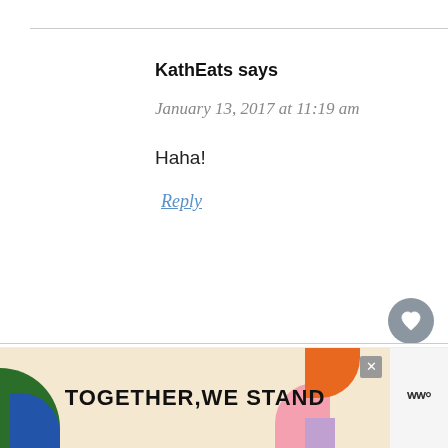KathEats says
January 13, 2017 at 11:19 am
Haha!
Reply
[Figure (screenshot): Floating heart button (grey circle with heart icon) and share button (white circle with share icon)]
[Figure (infographic): What's Next widget with thumbnail and text: Things I'm Afraid To Tel...]
[Figure (infographic): Ad banner: TOGETHER WE STAND with colorful blobs, close button, and logo]